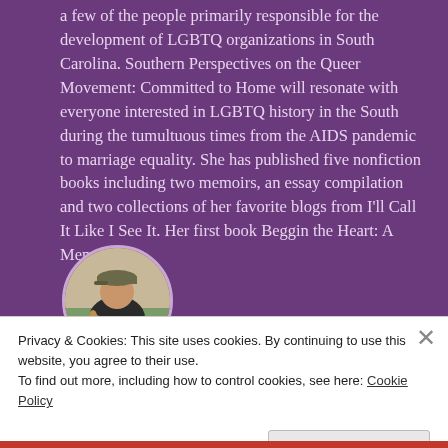a few of the people primarily responsible for the development of LGBTQ organizations in South Carolina. Southern Perspectives on the Queer Movement: Committed to Home will resonate with everyone interested in LGBTQ history in the South during the tumultuous times from the AIDS pandemic to marriage equality. She has published five nonfiction books including two memoirs, an essay compilation and two collections of her favorite blogs from I'll Call It Like I See It. Her first book Beggin the Heart: A Memoir of
[Figure (photo): Circular author photo showing a person wearing a cap and holding a dog, outdoors.]
Privacy & Cookies: This site uses cookies. By continuing to use this website, you agree to their use.
To find out more, including how to control cookies, see here: Cookie Policy
Close and accept